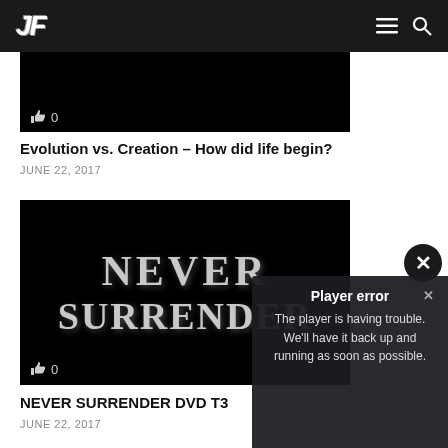JF (logo) — navigation icons (hamburger menu, search)
[Figure (screenshot): Black video thumbnail with thumbs-up icon and count 0]
Evolution vs. Creation – How did life begin?
JUNE 22, 2017
[Figure (screenshot): Black video thumbnail with NEVER SURRENDER text and thumbs-up icon with count 0]
NEVER SURRENDER DVD T3
JUNE 22, 2017
Player error
The player is having trouble. We'll have it back up and running as soon as possible.